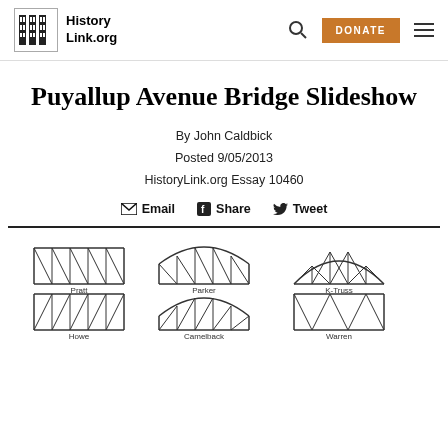HistoryLink.org — DONATE — Search — Menu
Puyallup Avenue Bridge Slideshow
By John Caldbick
Posted 9/05/2013
HistoryLink.org Essay 10460
Email  Share  Tweet
[Figure (illustration): Diagram showing various bridge truss types: Pratt, Parker, K-Truss (top row), Howe, Camelback, Warren (middle row), and partial bottom row of additional truss types.]